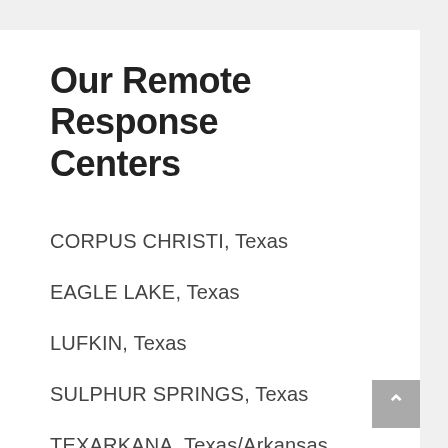Our Remote Response Centers
CORPUS CHRISTI, Texas
EAGLE LAKE, Texas
LUFKIN, Texas
SULPHUR SPRINGS, Texas
TEXARKANA, Texas/Arkansas
WINNSBORO, Texas